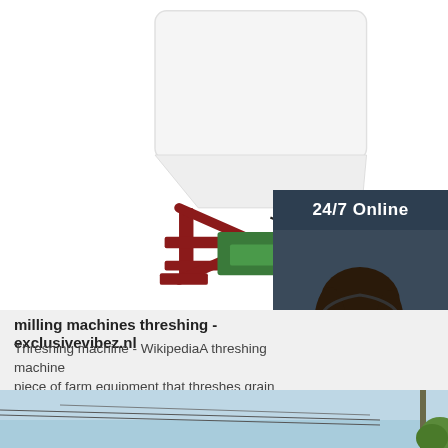[Figure (photo): A threshing/milling machine with white hopper on top and red metal frame base with green components, on white background. Overlaid with a 24/7 online customer service chat panel showing a smiling woman with headset.]
milling machines threshing - exclusivevibez.nl
Threshing machine - WikipediaA threshing machine or a thresher is a piece of farm equipment that threshes grain that is seeds from the stalks and
[Figure (other): Orange 'Get Price' button]
[Figure (logo): Orange TOP logo with dotted house/triangle shape above the text TOP]
[Figure (photo): Bottom strip showing blue sky with power lines and a green tree/pole]